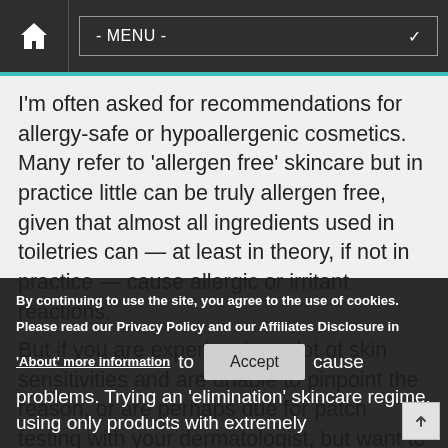- MENU -
I'm often asked for recommendations for allergy-safe or hypoallergenic cosmetics. Many refer to 'allergen free' skincare but in practice little can be truly allergen free, given that almost all ingredients used in toiletries can — at least in theory, if not in practice — cause allergic or irritant reactions.
But if you are experiencing a lot of skin sensitivities and are unable to pinpoint the reason, or are perhaps due for patch testing with your dermatologist, but want to minimise ...to cause problems. Trying an 'elimination' skincare regime, using only products with extremely
By continuing to use the site, you agree to the use of cookies.
Please read our Privacy Policy and our Affiliates Disclosure in
'About' more information
Accept